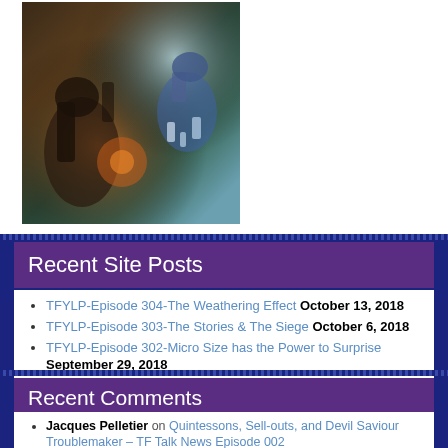[Figure (photo): Action scene with robot/mech figures, Transformers characters in battle scene with warm orange and cool teal lighting]
Recent Site Posts
TFYLP-Episode 304-The Weathering Effect October 13, 2018
TFYLP-Episode 303-The Stories & The Siege October 6, 2018
TFYLP-Episode 302-Micro Size has the Power to Surprise September 29, 2018
TFYLP-Episode 301-Brand Loyalty September 15, 2018
Recent Comments
Jacques Pelletier on Quintessons, Sell-outs, and Devil Saviour Troublemaker – TF Talk News Episode 002
Jason W on Hasbro Toy Fair 2020 Recap Special Report – TF Talk News Episode 001
Eric Henry DuPuy on Titans Return Trypticon Revealed